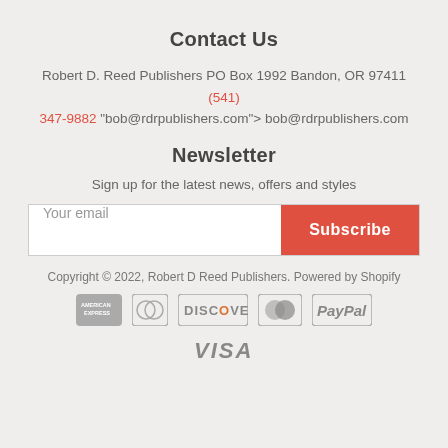Contact Us
Robert D. Reed Publishers PO Box 1992 Bandon, OR 97411 (541) 347-9882 "bob@rdrpublishers.com"> bob@rdrpublishers.com
Newsletter
Sign up for the latest news, offers and styles
Your email | Subscribe
Copyright © 2022, Robert D Reed Publishers. Powered by Shopify
[Figure (other): Payment method icons: American Express, Diners Club, Discover, Mastercard, PayPal, Visa]